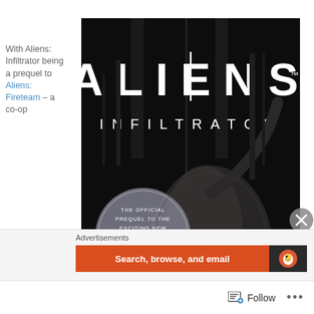With Aliens: Infiltrator being a prequel to Aliens: Fireteam – a co-op
[Figure (photo): Book cover of 'Aliens: Infiltrator' showing a xenomorph alien creature against a dark industrial background. The cover reads 'ALIENS INFILTRATOR' in large white letters and includes a circular badge saying 'THE OFFICIAL PREQUEL TO THE EXCITING NEW ALIENS VIDEO GAME'.]
Advertisements
[Figure (screenshot): Orange advertisement banner reading 'Search, browse, and email' with a dark section to the right showing a DuckDuckGo logo.]